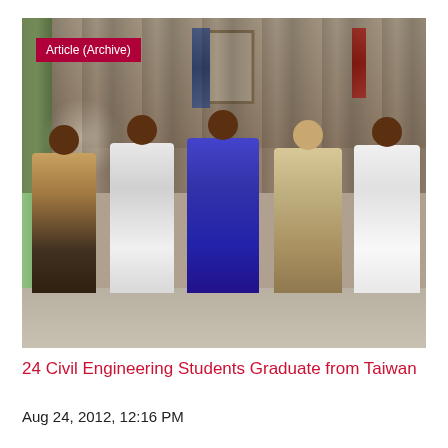[Figure (photo): Group photo of approximately 30+ people in a room, with 5 dignitaries seated in the front row and many students and officials standing behind them. Flags are visible in the background including what appears to be the Republic of China (Taiwan) flag and another flag. A framed portrait hangs on the wall. An 'Article (Archive)' badge appears in the upper-left corner of the photo.]
24 Civil Engineering Students Graduate from Taiwan
Aug 24, 2012, 12:16 PM